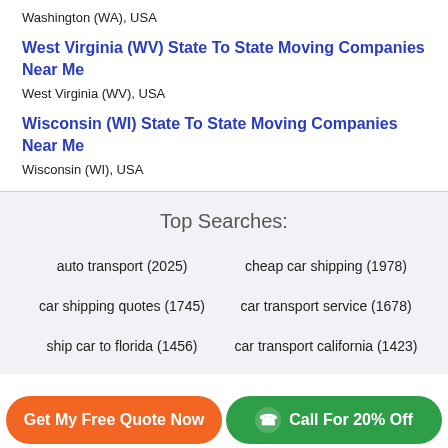Washington (WA), USA
West Virginia (WV) State To State Moving Companies Near Me
West Virginia (WV), USA
Wisconsin (WI) State To State Moving Companies Near Me
Wisconsin (WI), USA
Top Searches:
auto transport (2025)
cheap car shipping (1978)
car shipping quotes (1745)
car transport service (1678)
ship car to florida (1456)
car transport california (1423)
Get My Free Quote Now
Call For 20% Off